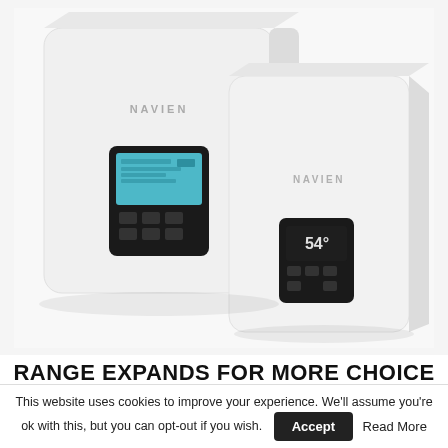[Figure (photo): Two white Navien wall-mounted boiler/water heater units side by side. The left unit is larger and slightly behind, with a black control panel featuring a blue LCD display screen and buttons. The right unit is smaller and in front, with a smaller black digital display panel. Both units have the NAVIEN logo on the front.]
RANGE EXPANDS FOR MORE CHOICE AND
This website uses cookies to improve your experience. We'll assume you're ok with this, but you can opt-out if you wish. Accept Read More